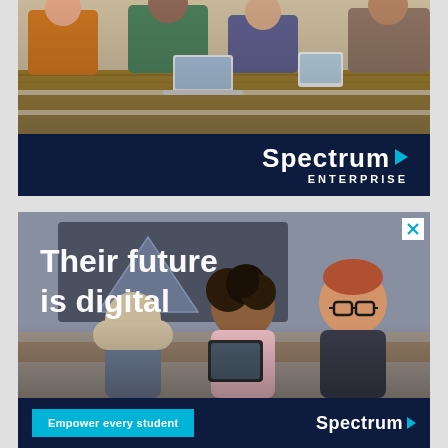[Figure (photo): Advertisement banner showing students/adults at wooden desks in a classroom using laptops and tablets, with Spectrum Enterprise logo on dark navy blue background below]
[Figure (photo): Advertisement showing three school-age children in a classroom with text 'Their future is digital' overlaid in white, with 'Empower every student' button and Spectrum logo on dark blue bar at bottom, and close X button in top right corner]